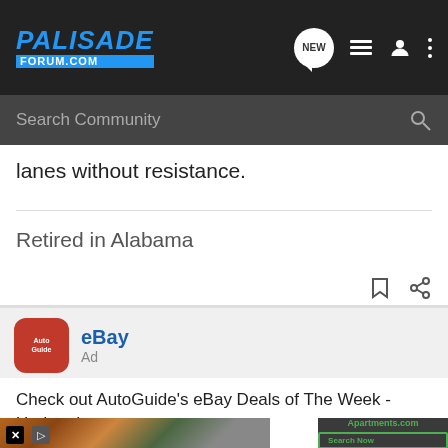PALISADE FORUM.COM — navigation header with search bar
lanes without resistance.
Retired in Alabama
eBay
Ad
Check out AutoGuide's eBay Deals of The Week - Updated every week. This week's addition: 42% OFF! an Android vehicle monitor with dash ca... compatible.